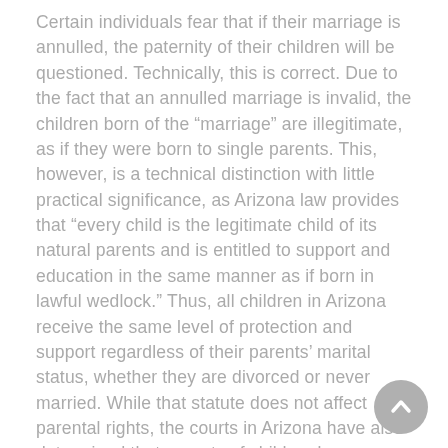Certain individuals fear that if their marriage is annulled, the paternity of their children will be questioned. Technically, this is correct. Due to the fact that an annulled marriage is invalid, the children born of the "marriage" are illegitimate, as if they were born to single parents. This, however, is a technical distinction with little practical significance, as Arizona law provides that "every child is the legitimate child of its natural parents and is entitled to support and education in the same manner as if born in lawful wedlock." Thus, all children in Arizona receive the same level of protection and support regardless of their parents' marital status, whether they are divorced or never married. While that statute does not affect parental rights, the courts in Arizona have also determined that parents of children born outside of marriage have co-equal custody of their children once paternity is established.
In Arizona, a presumption of paternity is created (a strong legal assumption that the alleged father is the biological...